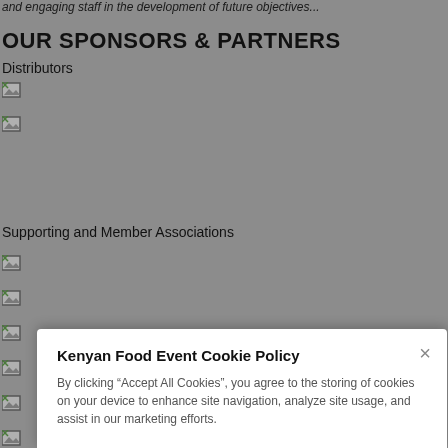and engaging staff in the development of future objectives...
OUR SPONSORS & PARTNERS
Distributors
[Figure (other): Broken image icon (distributor logo 1)]
[Figure (other): Broken image icon (distributor logo 2)]
Supporting and Member Associations
[Figure (other): Broken image icon (association logo 1)]
[Figure (other): Broken image icon (association logo 2)]
[Figure (other): Broken image icon (association logo 3)]
[Figure (other): Broken image icon (association logo 4)]
[Figure (other): Broken image icon (association logo 5)]
[Figure (other): Broken image icon (association logo 6)]
[Figure (other): Broken image icon (association logo 7)]
[Figure (other): Broken image icon (association logo 8)]
Kenyan Food Event Cookie Policy
By clicking “Accept All Cookies”, you agree to the storing of cookies on your device to enhance site navigation, analyze site usage, and assist in our marketing efforts.